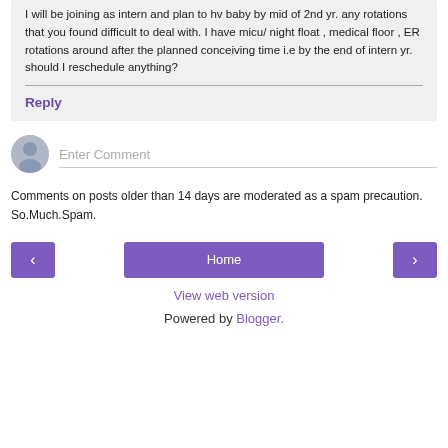I will be joining as intern and plan to hv baby by mid of 2nd yr. any rotations that you found difficult to deal with. I have micu/ night float , medical floor , ER rotations around after the planned conceiving time i.e by the end of intern yr. should I reschedule anything?
Reply
Enter Comment
Comments on posts older than 14 days are moderated as a spam precaution. So.Much.Spam.
Home
View web version
Powered by Blogger.